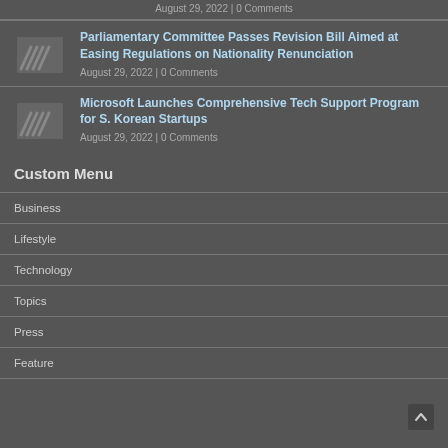August 29, 2022 | 0 Comments
Parliamentary Committee Passes Revision Bill Aimed at Easing Regulations on Nationality Renunciation
August 29, 2022 | 0 Comments
Microsoft Launches Comprehensive Tech Support Program for S. Korean Startups
August 29, 2022 | 0 Comments
Custom Menu
Business
Lifestyle
Technology
Topics
Press
Feature